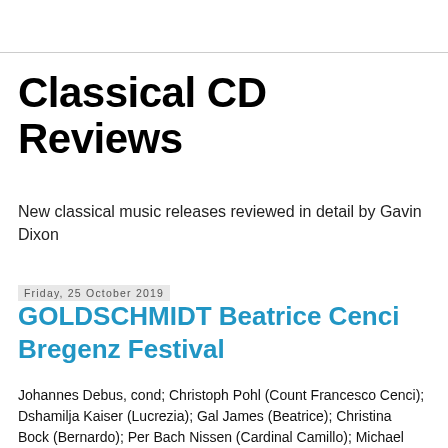Classical CD Reviews
New classical music releases reviewed in detail by Gavin Dixon
Friday, 25 October 2019
GOLDSCHMIDT Beatrice Cenci Bregenz Festival
Johannes Debus, cond; Christoph Pohl (Count Francesco Cenci); Dshamilja Kaiser (Lucrezia);  Gal James (Beatrice);  Christina Bock (Bernardo);  Per Bach Nissen  (Cardinal Camillo); Michael Laurenz (Orsino);  Wolfgang Stefan Schwaiger (Marzio); Sébastien Soulès  (Olimpio);  Peter Marsh (A Judge); Prague P...